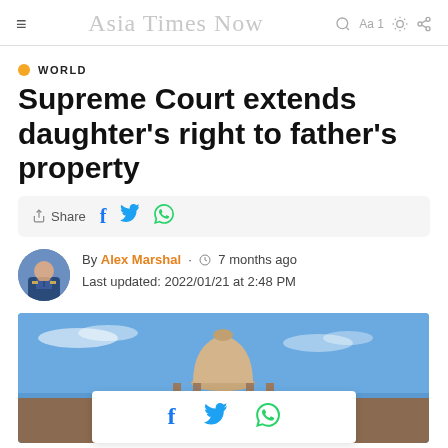Asia Times Now
WORLD
Supreme Court extends daughter’s right to father’s property
By Alex Marshal · 7 months ago
Last updated: 2022/01/21 at 2:48 PM
[Figure (photo): Photo of the Supreme Court building with dome visible against a blue sky, with a floating share bar overlay showing Facebook, Twitter, and WhatsApp icons]